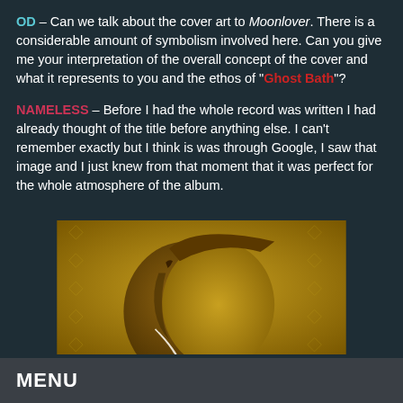OD – Can we talk about the cover art to Moonlover. There is a considerable amount of symbolism involved here. Can you give me your interpretation of the overall concept of the cover and what it represents to you and the ethos of "Ghost Bath"?
NAMELESS – Before I had the whole record was written I had already thought of the title before anything else. I can't remember exactly but I think is was through Google, I saw that image and I just knew from that moment that it was perfect for the whole atmosphere of the album.
[Figure (photo): Sepia-toned photo of a crescent moon sculpture or mask showing a face in profile, with curved horns, against a textured fabric background.]
MENU